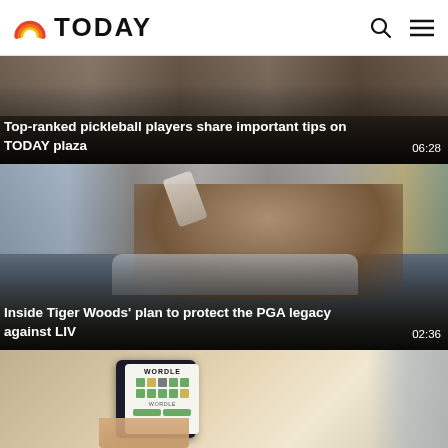TODAY
[Figure (screenshot): Video thumbnail: Top-ranked pickleball players share important tips on TODAY plaza. Duration: 06:28]
Top-ranked pickleball players share important tips on TODAY plaza
[Figure (photo): Video thumbnail: Tiger Woods tipping his cap to the crowd. Duration: 02:36]
Inside Tiger Woods' plan to protect the PGA legacy against LIV
[Figure (photo): Video thumbnail: Hands holding a phone displaying the Wordle game app.]